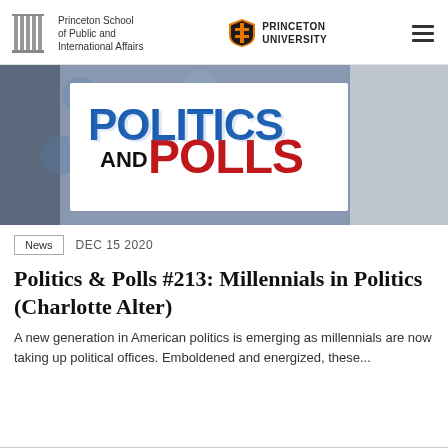Princeton School of Public and International Affairs | Princeton University
[Figure (photo): Politics and Polls podcast logo/banner with blue 'POLITICS' text, black 'AND', and red 'POLLS' text on a white background with bokeh library background]
News   DEC 15 2020
Politics & Polls #213: Millennials in Politics (Charlotte Alter)
A new generation in American politics is emerging as millennials are now taking up political offices. Emboldened and energized, these...